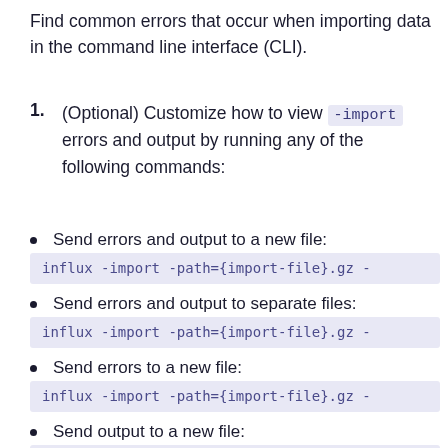Find common errors that occur when importing data in the command line interface (CLI).
(Optional) Customize how to view -import errors and output by running any of the following commands:
Send errors and output to a new file:
influx -import -path={import-file}.gz -
Send errors and output to separate files:
influx -import -path={import-file}.gz -
Send errors to a new file:
influx -import -path={import-file}.gz -
Send output to a new file:
influx -import -path={import-file}.gz -